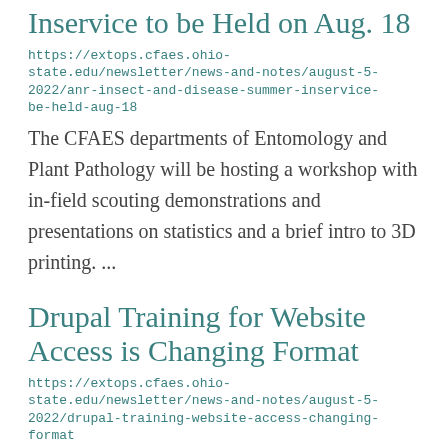Inservice to be Held on Aug. 18
https://extops.cfaes.ohio-state.edu/newsletter/news-and-notes/august-5-2022/anr-insect-and-disease-summer-inservice-be-held-aug-18
The CFAES departments of Entomology and Plant Pathology will be hosting a workshop with in-field scouting demonstrations and presentations on statistics and a brief intro to 3D printing. ...
Drupal Training for Website Access is Changing Format
https://extops.cfaes.ohio-state.edu/newsletter/news-and-notes/august-5-2022/drupal-training-website-access-changing-format